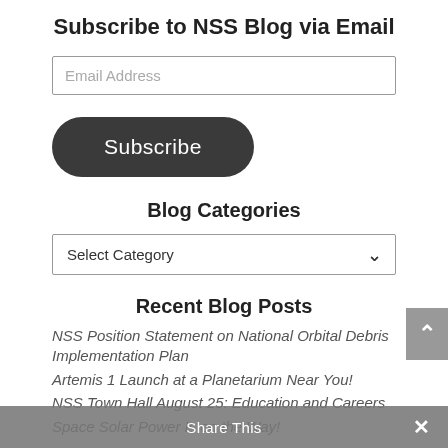Subscribe to NSS Blog via Email
Email Address
Subscribe
Blog Categories
Select Category
Recent Blog Posts
NSS Position Statement on National Orbital Debris Implementation Plan
Artemis 1 Launch at a Planetarium Near You!
NSS Town Hall August 25: Education and Careers
Space Solar Power Is on the Way!
NSS Logo...
Share This